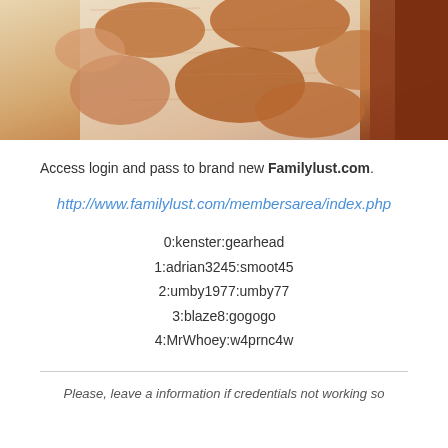[Figure (photo): Close-up photo of an animal with brown and white fur/coat pattern, with reddish-brown hair visible on the right side]
Access login and pass to brand new Familylust.com.
http://www.familylust.com/membersarea/index.php
0:kenster:gearhead
1:adrian3245:smoot45
2:umby1977:umby77
3:blaze8:gogogo
4:MrWhoey:w4prnc4w
Please, leave a information if credentials not working so